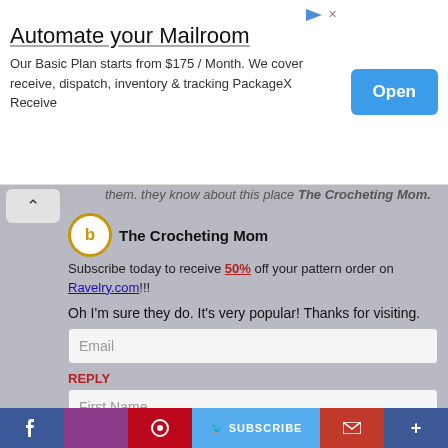[Figure (screenshot): Advertisement banner: 'Automate your Mailroom' with Open button]
them. they know about this place The Crocheting Mom.
The Crocheting Mom
Subscribe today to receive 50% off your pattern order on Ravelry.com!!!
Oh I'm sure they do. It's very popular! Thanks for visiting.
Email
REPLY
First Name
Makeup by Maria  June 24, 2017 at 3:26 PM
Excellent blog and very informative!
Last na
The Crocheting Mom
June 25, 2017 at 10:07 AM
Thank you!
Country
[Figure (screenshot): Social share bar with Facebook, Pinterest, Twitter, Subscribe, Mail, and Plus buttons]